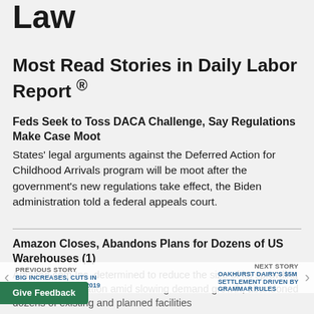Law
Most Read Stories in Daily Labor Report ®
Feds Seek to Toss DACA Challenge, Say Regulations Make Case Moot
States' legal arguments against the Deferred Action for Childhood Arrivals program will be moot after the government's new regulations take effect, the Biden administration told a federal appeals court.
Amazon Closes, Abandons Plans for Dozens of US Warehouses (1)
Amazon.com Inc. determined to reduce the size of its sprawling warehouse operation amid slowing demand growth, abandoned dozens of existing and planned facilities
PREVIOUS STORY
BIG INCREASES, CUTS IN PRESIDENT'S FISCAL 2019
NEXT STORY
OAKHURST DAIRY'S $5M SETTLEMENT DRIVEN BY GRAMMAR RULES